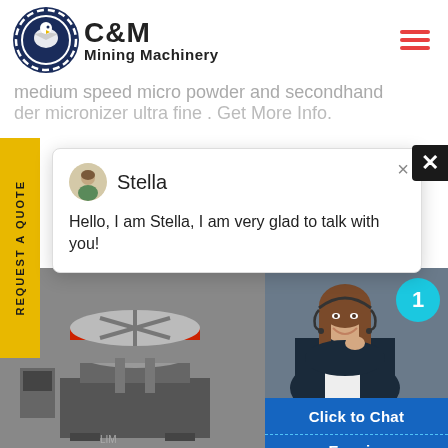[Figure (logo): C&M Mining Machinery logo with eagle in gear circle and text]
medium speed micro powder and secondhand der micronizer ultra fine . Get More Info.
REQUEST A QUOTE
Stella
Hello, I am Stella, I am very glad to talk with you!
[Figure (photo): Industrial mining machine (vertical shaft impact crusher) in grayscale]
[Figure (photo): Customer service woman with headset, smiling, with teal badge showing number 1]
Click to Chat
Enquiry